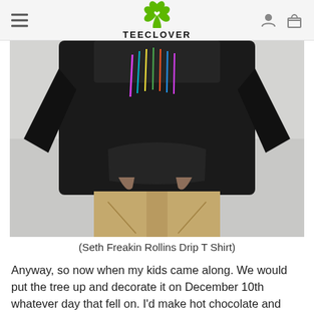TEECLOVER
[Figure (photo): Person wearing a black hoodie with colorful drip graphic, paired with khaki pants, photographed from chest to knees.]
(Seth Freakin Rollins Drip T Shirt)
Anyway, so now when my kids came along. We would put the tree up and decorate it on December 10th whatever day that fell on. I'd make hot chocolate and we'd turn the lights off so the only light came from the tree. Then we'd watch Rudolph the...